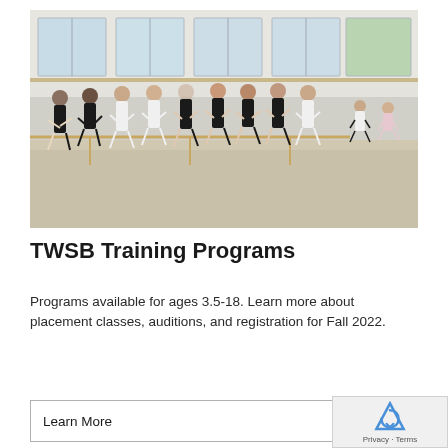[Figure (photo): Group of ballet dancers in a dance studio posing at a barre, with large windows behind them. Dancers are dressed in black leotards and some in white. Two small children are at the right side.]
TWSB Training Programs
Programs available for ages 3.5-18. Learn more about placement classes, auditions, and registration for Fall 2022.
Learn More